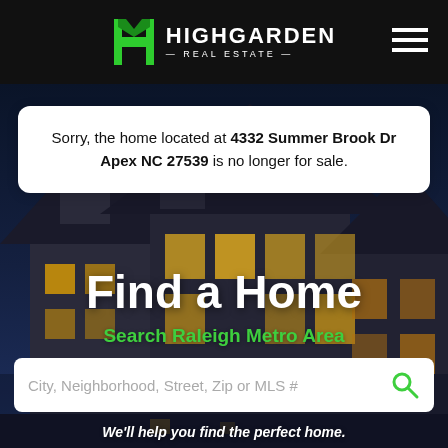[Figure (logo): Highgarden Real Estate logo with green H lettermark and white text]
Sorry, the home located at 4332 Summer Brook Dr Apex NC 27539 is no longer for sale.
Find a Home
Search Raleigh Metro Area
City, Neighborhood, Street, Zip or MLS #
We'll help you find the perfect home.
Local Experts